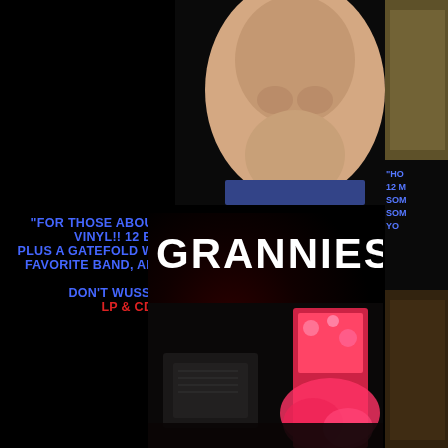[Figure (photo): Two people cropped at torso level, one shirtless on left, one in red floral dress on right, against black background]
"FOR THOSE ABOUT TO FORGET TO ROCK" - 2011 VINYL!! 12 BIG BLACK INCHES OF IT. PLUS A GATEFOLD WITH A 24 INCH PICTURE OF YOUR FAVORITE BAND, AND THERE'S A CD INSERT IN THE ALBUM! DON'T WUSS OUT AND GO TO ITUNES. LP & CD  OR  iTUNES {WUSS}
[Figure (photo): Grannies album cover with band name in large white text at top, dark concert/performance scene below with colorful figure on right side]
[Figure (photo): Partial right-side strip showing another album or image with partial text starting with "HO" and partial lines below]